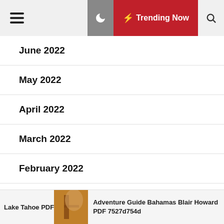☰ 🌙 ⚡ Trending Now 🔍
June 2022
May 2022
April 2022
March 2022
February 2022
January 2022
December 2021
Lake Tahoe PDF   Adventure Guide Bahamas Blair Howard PDF 7527d754d